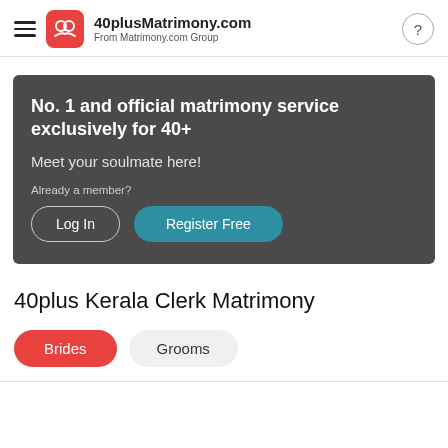40plusMatrimony.com From Matrimony.com Group
[Figure (infographic): Dark grey banner with headline 'No. 1 and official matrimony service exclusively for 40+', subtext 'Meet your soulmate here!', 'Already a member?' label, and two buttons: 'Log In' (outline) and 'Register Free' (teal filled).]
40plus Kerala Clerk Matrimony
Brides  Grooms